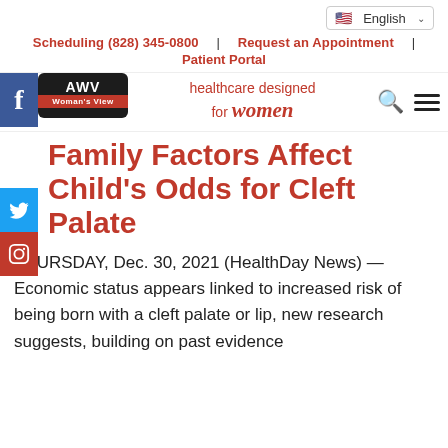English | Language selector
Scheduling (828) 345-0800 | Request an Appointment | Patient Portal
[Figure (logo): AWV Woman's View logo with red band, healthcare designed for women tagline, search and menu icons]
Family Factors Affect Child's Odds for Cleft Palate
THURSDAY, Dec. 30, 2021 (HealthDay News) — Economic status appears linked to increased risk of being born with a cleft palate or lip, new research suggests, building on past evidence